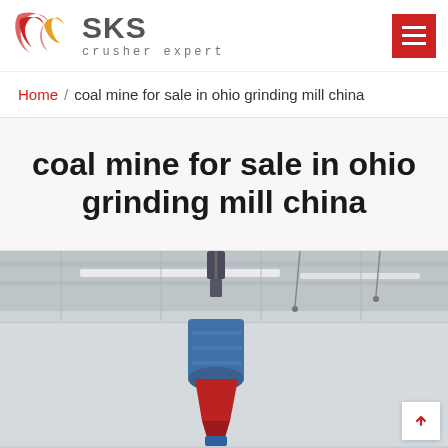SKS crusher expert
Home / coal mine for sale in ohio grinding mill china
coal mine for sale in ohio grinding mill china
[Figure (photo): Industrial grinding mill equipment mounted from ceiling in a factory/warehouse setting, showing blue and red mechanical parts viewed from below]